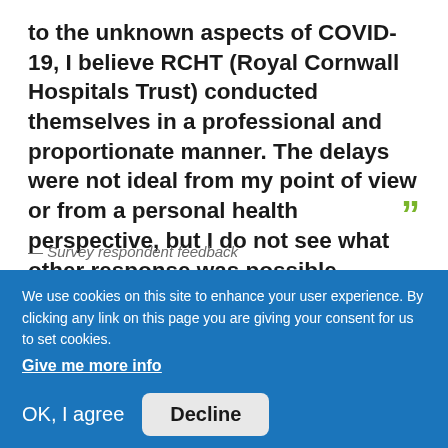to the unknown aspects of COVID-19, I believe RCHT (Royal Cornwall Hospitals Trust) conducted themselves in a professional and proportionate manner. The delays were not ideal from my point of view or from a personal health perspective, but I do not see what other response was possible.
— Survey respondent feedback
We use cookies on this site to enhance your user experience. By clicking any link on this page you are giving your consent for us to set cookies.
Give me more info
OK, I agree   Decline